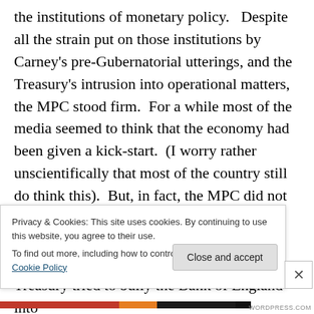the institutions of monetary policy.   Despite all the strain put on those institutions by Carney's pre-Gubernatorial utterings, and the Treasury's intrusion into operational matters, the MPC stood firm.  For a while most of the media seemed to think that the economy had been given a kick-start.  (I worry rather unscientifically that most of the country still do think this).  But, in fact, the MPC did not buckle.   Monetary policy is somewhat wounded, but will live on to fight another day.  A positive way to look at it is that the Treasury tried to bully the Bank of England into
Privacy & Cookies: This site uses cookies. By continuing to use this website, you agree to their use.
To find out more, including how to control cookies, see here: Cookie Policy
Close and accept